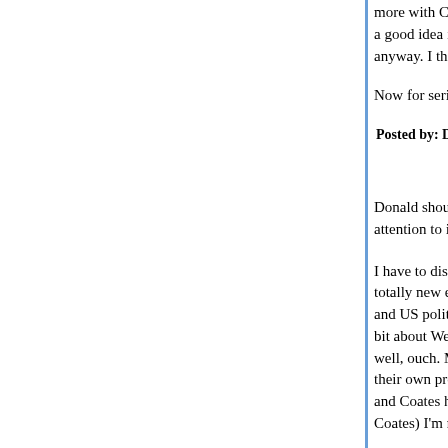more with Coates than Scahill, the latter who see a good idea if Sanders had run a 3 rd party camp anyway. I think Coates was right to dismiss that a
Now for serious and much promised lurking to co
Posted by: Donald | October 17, 2017 at 10:42 PM
Donald shouldn't be blamed for the Wei Wei comm attention to it.
I have to disagree with Russell here, I think we ha totally new entity and the sadly logical continuation and US politics and society. It's a comment that c bit about Wei Wei and when someone like that ca well, ouch. Maybe he's totally full of shit, but seei their own problems disavowing Trump, and the di and Coates have in the article (the quote is just to Coates) I'm not so sure.
I'd welcome some chat about this, but if you think sure there is anything to discuss about it.
Posted by: liberal japonicus | October 17, 2017 at 11:06 PM